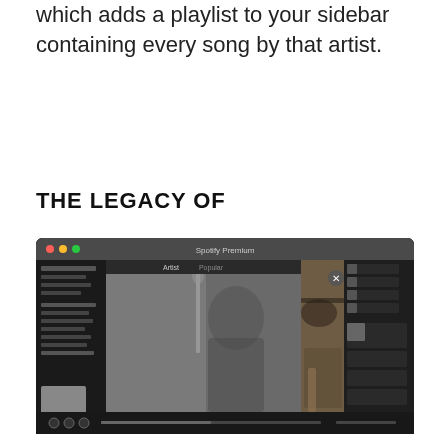which adds a playlist to your sidebar containing every song by that artist.
THE LEGACY OF
[Figure (screenshot): Screenshot of Spotify Premium desktop application showing Bob Dylan artist page with a split image: left side black and white photo of young Bob Dylan with microphone, right side color photo of a person with a hat playing guitar. The interface shows the typical Spotify layout with sidebar playlists, friend activity feed on the right, and playback controls at the bottom.]